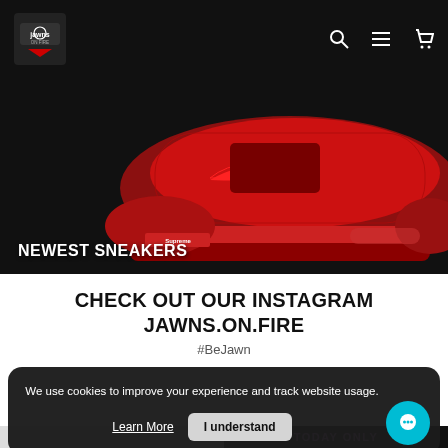Jawns On Fire — navigation bar with logo, search, menu, and cart icons
[Figure (photo): Red Nike sneaker (Supreme collaboration) photographed on black background, with 'NEWEST SNEAKERS' label overlay at bottom left]
CHECK OUT OUR INSTAGRAM
JAWNS.ON.FIRE
#BeJawn
We use cookies to improve your experience and track website usage.
Learn More   I understand